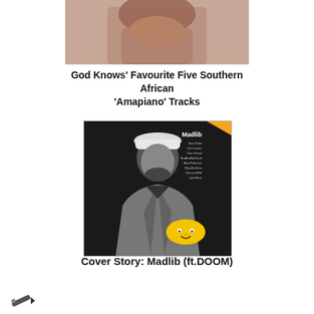[Figure (photo): Close-up photograph of a person's face/neck area, cropped at top]
God Knows’ Favourite Five Southern African ‘Amapiano’ Tracks
[Figure (photo): Black and white photo of Madlib wearing a grey coat and white cap, with a yellow cartoon character sticker. Magazine cover style with text overlay listing tracks including New Order, Out Cruisin, Thee Parish, BadBadNotGood, Mad Professor, Step Brothers, Damon 3030, Joel Mase. Small orange/yellow corner decoration.]
Cover Story: Madlib (ft.DOOM)
[Figure (illustration): Small dark pencil/pen icon at bottom left]